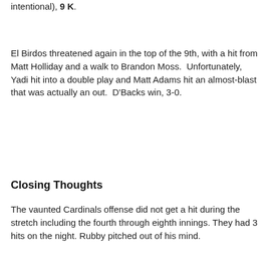intentional), 9 K.
El Birdos threatened again in the top of the 9th, with a hit from Matt Holliday and a walk to Brandon Moss.  Unfortunately, Yadi hit into a double play and Matt Adams hit an almost-blast that was actually an out.  D'Backs win, 3-0.
Closing Thoughts
The vaunted Cardinals offense did not get a hit during the stretch including the fourth through eighth innings. They had 3 hits on the night. Rubby pitched out of his mind.
[Figure (logo): Cardinals team logo circle in footer]
[Figure (other): Twitter and Facebook social icons in footer]